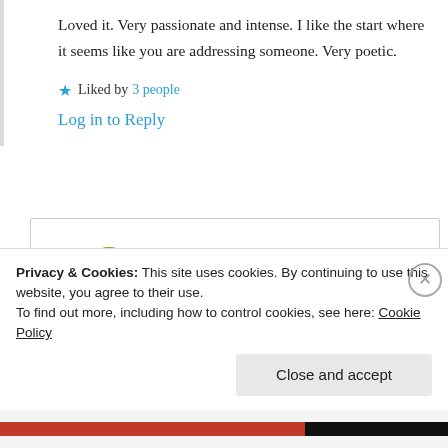Loved it. Very passionate and intense. I like the start where it seems like you are addressing someone. Very poetic.
★ Liked by 3 people
Log in to Reply
mildredprincewelch
13th Jun 2021 at 12:13 am
Privacy & Cookies: This site uses cookies. By continuing to use this website, you agree to their use.
To find out more, including how to control cookies, see here: Cookie Policy
Close and accept